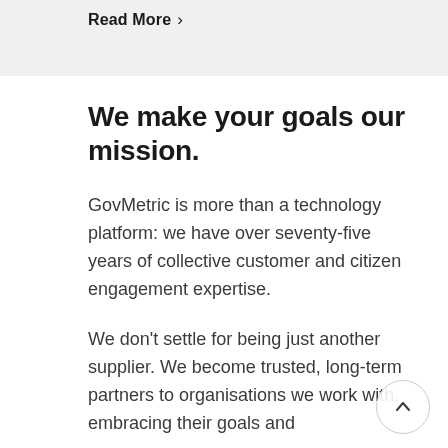Read More >
We make your goals our mission.
GovMetric is more than a technology platform: we have over seventy-five years of collective customer and citizen engagement expertise.
We don't settle for being just another supplier. We become trusted, long-term partners to organisations we work with, embracing their goals and